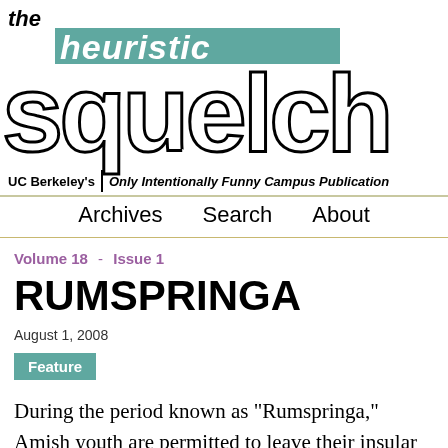[Figure (logo): The Heuristic Squelch logo — UC Berkeley's Only Intentionally Funny Campus Publication]
Archives   Search   About
Volume 18 - Issue 1
RUMSPRINGA
August 1, 2008
Feature
During the period known as “Rumspringa,” Amish youth are permitted to leave their insular communities and explore the world of the modern American teenager. Most return to be baptized, but a slim minority chooses to stay in the high-fat